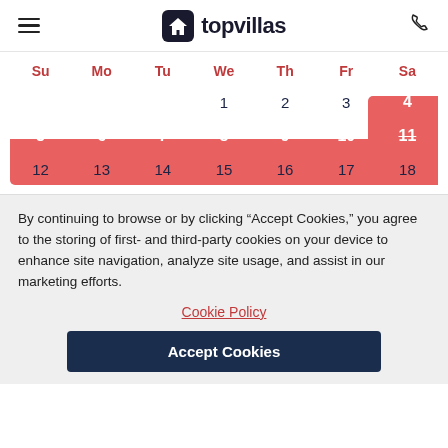topvillas
| Su | Mo | Tu | We | Th | Fr | Sa |
| --- | --- | --- | --- | --- | --- | --- |
|  |  |  | 1 | 2 | 3 | 4 |
| 5 | 6 | 7 | 8 | 9 | 10 | 11 |
| 12 | 13 | 14 | 15 | 16 | 17 | 18 |
By continuing to browse or by clicking “Accept Cookies,” you agree to the storing of first- and third-party cookies on your device to enhance site navigation, analyze site usage, and assist in our marketing efforts.
Cookie Policy
Accept Cookies